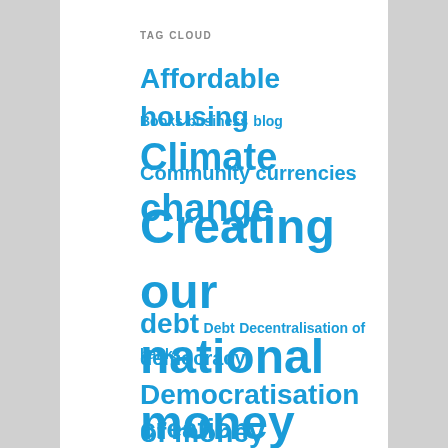TAG CLOUD
Affordable housing blog
Books business Climate change
Community currencies
Creating our national money
debt Debt Decentralisation of banks
democracy
Democratisation of money creation
depleting fossil fuels
Eco monetary reform